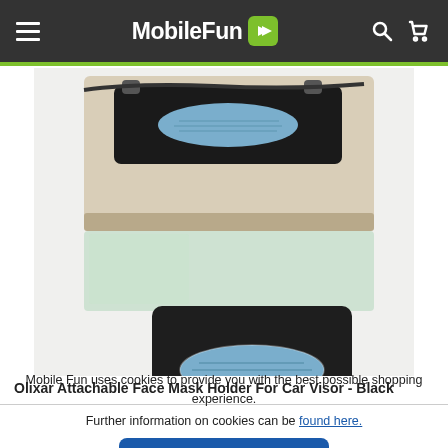MobileFun
[Figure (photo): Product photo of the Olixar Attachable Face Mask Holder For Car Visor in Black. Two views: one showing the holder attached to a car sun visor, and another flat lay showing the black leatherette case with a blue oval window.]
Olixar Attachable Face Mask Holder For Car Visor - Black
Mobile Fun uses cookies to provide you with the best possible shopping experience.
Further information on cookies can be found here.
ACCEPT ALL